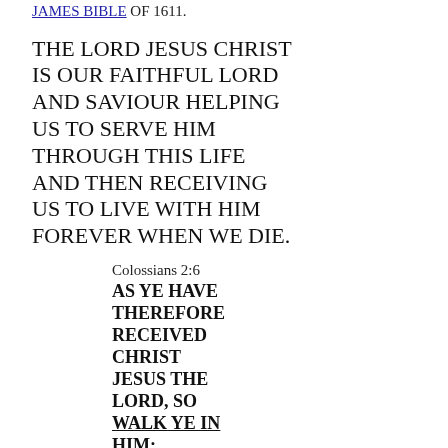JAMES BIBLE OF 1611.
THE LORD JESUS CHRIST IS OUR FAITHFUL LORD AND SAVIOUR HELPING US TO SERVE HIM THROUGH THIS LIFE AND THEN RECEIVING US TO LIVE WITH HIM FOREVER WHEN WE DIE.
Colossians 2:6
AS YE HAVE THEREFORE RECEIVED CHRIST JESUS THE LORD, SO WALK YE IN HIM:
Colossians 2:7
ROOTED AND BUILT UP IN HIM, AND STABLISHED